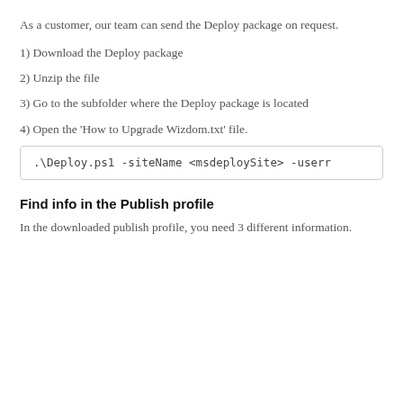As a customer, our team can send the Deploy package on request.
1) Download the Deploy package
2) Unzip the file
3) Go to the subfolder where the Deploy package is located
4) Open the 'How to Upgrade Wizdom.txt' file.
.\Deploy.ps1 -siteName <msdeploySite> -userr
Find info in the Publish profile
In the downloaded publish profile, you need 3 different information.